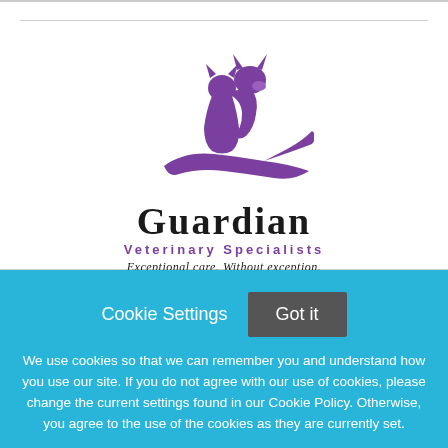[Figure (logo): Guardian Veterinary Specialists logo: purple silhouette of a hand holding a cat and dog with fox ears, above the text GUARDIAN VETERINARY SPECIALISTS Exceptional care. Without exception.]
Cookie Settings
Got it
We use cookies so that we can remember you and understand how you use our site. If you do not agree with our use of cookies, please change the current settings found in our Cookie Policy. Otherwise, you agree to the use of the cookies as they are currently set.